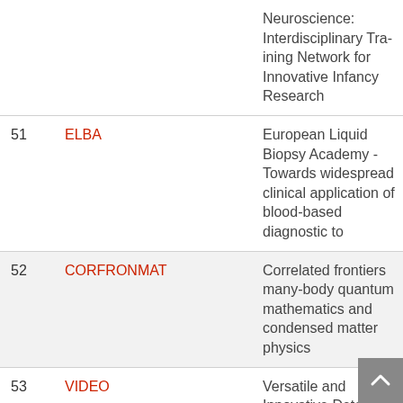| # | Acronym | Full Name |
| --- | --- | --- |
|  |  | Neuroscience: Interdisciplinary Training Network for Innovative Infancy Research |
| 51 | ELBA | European Liquid Biopsy Academy - Towards widespread clinical application of blood-based diagnostic to |
| 52 | CORFRONMAT | Correlated frontiers of many-body quantum mathematics and condensed matter physics |
| 53 | VIDEO | Versatile and Innovative Detector for Electro Optics |
| 54 | LNEXPANDS | The Mechanisms an |